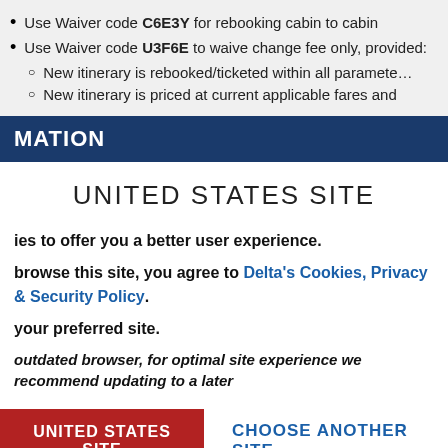Use Waiver code C6E3Y for rebooking cabin to cabin
Use Waiver code U3F6E to waive change fee only, provided:
New itinerary is rebooked/ticketed within all paramete…
New itinerary is priced at current applicable fares and…
MATION
UNITED STATES SITE
ies to offer you a better user experience.
browse this site, you agree to Delta's Cookies, Privacy & Security Policy.
your preferred site.
outdated browser, for optimal site experience we recommend updating to a later
UNITED STATES SITE
CHOOSE ANOTHER SITE
designator is being used
If another ticket designator is being used, place the…